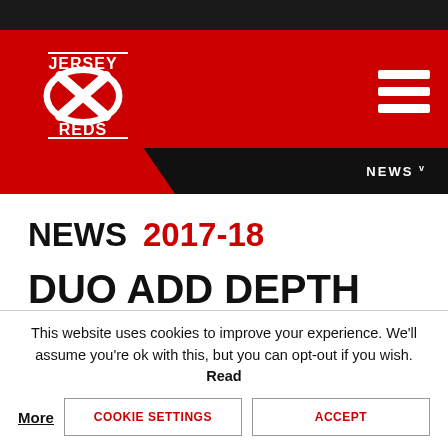[Figure (logo): Jersey Reds rugby club logo — white oval with X cross shape, text JERSEY above and REDS below, on red background header]
NEWS v
NEWS 2017-18
DUO ADD DEPTH TO REDS' SQUAD
This website uses cookies to improve your experience. We'll assume you're ok with this, but you can opt-out if you wish. Read More
COOKIE SETTINGS
ACCEPT